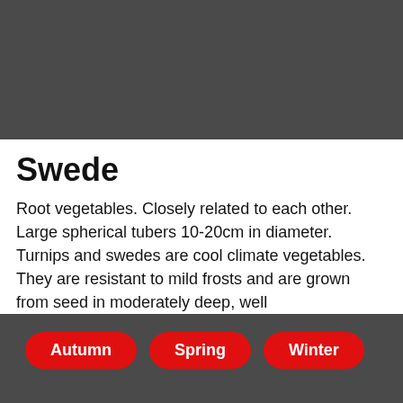[Figure (photo): Dark grey placeholder image area at top of page]
Swede
Root vegetables. Closely related to each other. Large spherical tubers 10-20cm in diameter. Turnips and swedes are cool climate vegetables. They are resistant to mild frosts and are grown from seed in moderately deep, well
Autumn
Spring
Winter